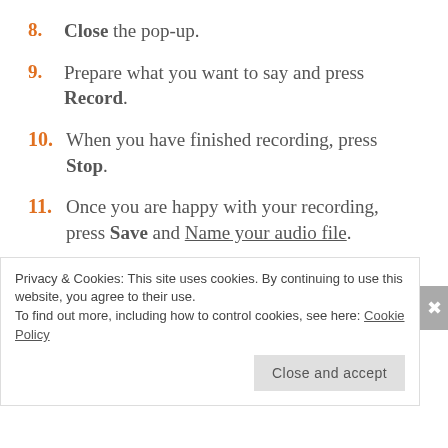8. Close the pop-up.
9. Prepare what you want to say and press Record.
10. When you have finished recording, press Stop.
11. Once you are happy with your recording, press Save and Name your audio file.
You will have 60 seconds to record your voice using Voki and 90 seconds with Voki Classroom. Don't worry if you or your students don't get it the first time. You can always try
Privacy & Cookies: This site uses cookies. By continuing to use this website, you agree to their use.
To find out more, including how to control cookies, see here: Cookie Policy
Close and accept